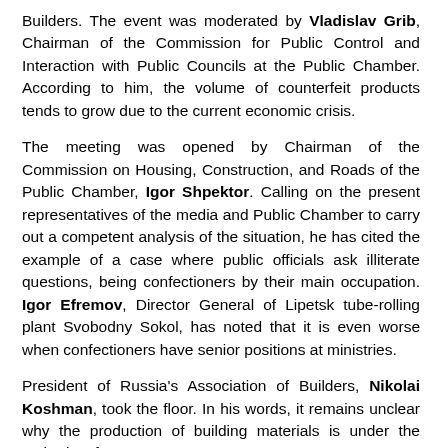Builders. The event was moderated by Vladislav Grib, Chairman of the Commission for Public Control and Interaction with Public Councils at the Public Chamber. According to him, the volume of counterfeit products tends to grow due to the current economic crisis.
The meeting was opened by Chairman of the Commission on Housing, Construction, and Roads of the Public Chamber, Igor Shpektor. Calling on the present representatives of the media and Public Chamber to carry out a competent analysis of the situation, he has cited the example of a case where public officials ask illiterate questions, being confectioners by their main occupation. Igor Efremov, Director General of Lipetsk tube-rolling plant Svobodny Sokol, has noted that it is even worse when confectioners have senior positions at ministries.
President of Russia's Association of Builders, Nikolai Koshman, took the floor. In his words, it remains unclear why the production of building materials is under the authority of